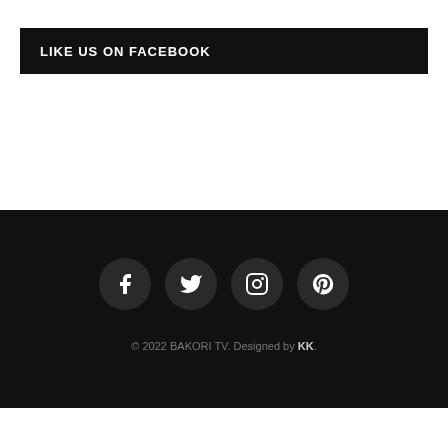LIKE US ON FACEBOOK
[Figure (illustration): Four social media icon circles (Facebook, Twitter, Instagram, Pinterest) on black background]
© 2022 BAKORI TV. Designed by KK.